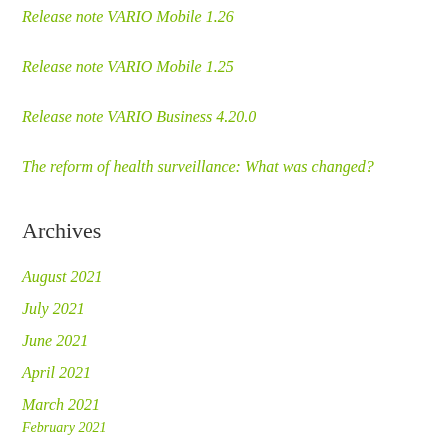Release note VARIO Mobile 1.26
Release note VARIO Mobile 1.25
Release note VARIO Business 4.20.0
The reform of health surveillance: What was changed?
Archives
August 2021
July 2021
June 2021
April 2021
March 2021
February 2021
January 2021
December 2020